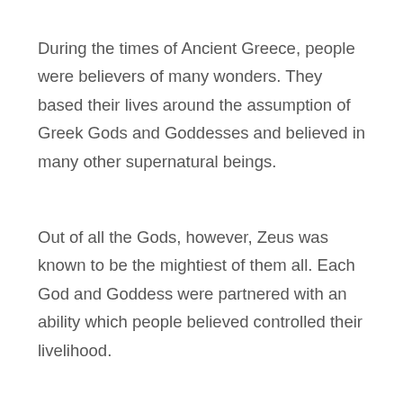During the times of Ancient Greece, people were believers of many wonders. They based their lives around the assumption of Greek Gods and Goddesses and believed in many other supernatural beings.
Out of all the Gods, however, Zeus was known to be the mightiest of them all. Each God and Goddess were partnered with an ability which people believed controlled their livelihood.